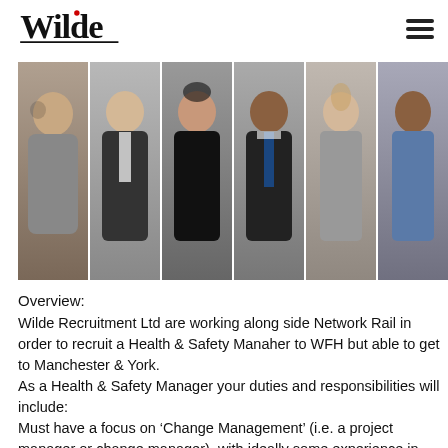[Figure (logo): Wilde recruitment company logo with red dot on letter 'i', underlined]
[Figure (photo): Banner photo showing six diverse smiling professionals in business attire posed in a row against a grey background]
Overview:
Wilde Recruitment Ltd are working along side Network Rail in order to recruit a Health & Safety Manaher to WFH but able to get to Manchester & York.
As a Health & Safety Manager your duties and responsibilities will include:
Must have a focus on ‘Change Management’ (i.e. a project manager or change manager), with ideally some experience in HSE but not essential